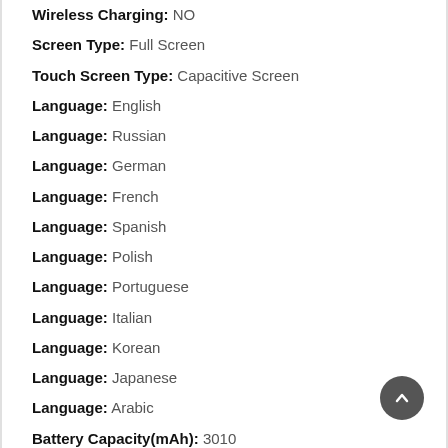Wireless Charging: NO
Screen Type: Full Screen
Touch Screen Type: Capacitive Screen
Language: English
Language: Russian
Language: German
Language: French
Language: Spanish
Language: Polish
Language: Portuguese
Language: Italian
Language: Korean
Language: Japanese
Language: Arabic
Battery Capacity(mAh): 3010
CPU Core Quantity: Octa Core
Screen Material: AMOLED
NFC: NO
CPU Model: …